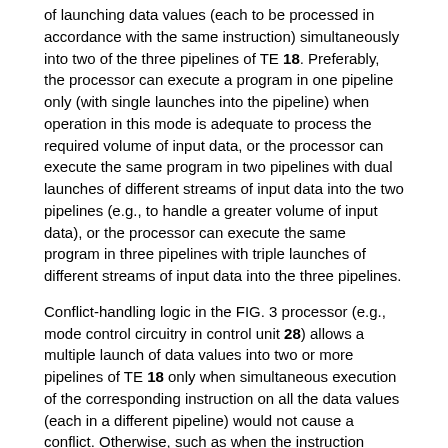of launching data values (each to be processed in accordance with the same instruction) simultaneously into two of the three pipelines of TE 18. Preferably, the processor can execute a program in one pipeline only (with single launches into the pipeline) when operation in this mode is adequate to process the required volume of input data, or the processor can execute the same program in two pipelines with dual launches of different streams of input data into the two pipelines (e.g., to handle a greater volume of input data), or the processor can execute the same program in three pipelines with triple launches of different streams of input data into the three pipelines.
Conflict-handling logic in the FIG. 3 processor (e.g., mode control circuitry in control unit 28) allows a multiple launch of data values into two or more pipelines of TE 18 only when simultaneous execution of the corresponding instruction on all the data values (each in a different pipeline) would not cause a conflict. Otherwise, such as when the instruction requires loading of different constants to different ones of the pipelines, or generation of different constants in different ones of the pipelines (to be stored in a constant memory shared by the pipelines), the conflict-handling logic causes the processor to enter a mode in which only one data value is launched into one pipeline of TE 18 per clock cycle.
When no conflict is predicted and TE 18 operates in the parallel processing mode, data values from two or more input buffers (in unit 16) are